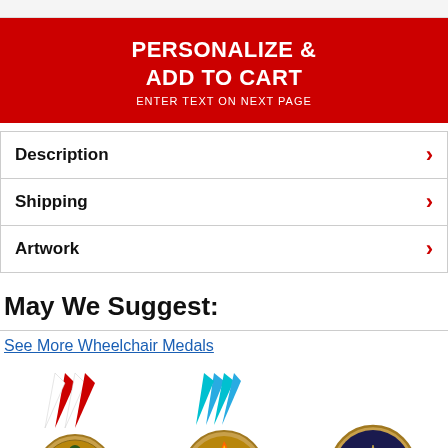PERSONALIZE & ADD TO CART
ENTER TEXT ON NEXT PAGE
Description
Shipping
Artwork
May We Suggest:
See More Wheelchair Medals
[Figure (photo): Three wheelchair sports medals with ribbons - left medal has red/white ribbon with gold wheelchair athlete medal, center has blue/teal ribbon with gold torch/flame medal, right has gold star 'ALL STAR' medal.]